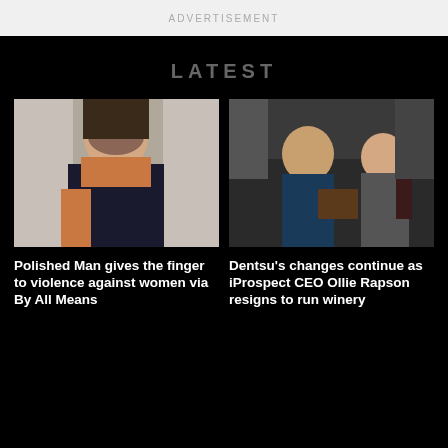ADVERTISEMENT
LATEST
[Figure (photo): Woman with long dark hair giving the finger, wearing a brown jacket]
Polished Man gives the finger to violence against women via By All Means
[Figure (photo): Two people smiling near wine barrels in a winery, man in navy jacket and woman in grey blazer holding a wine glass]
Dentsu's changes continue as iProspect CEO Ollie Rapson resigns to run winery